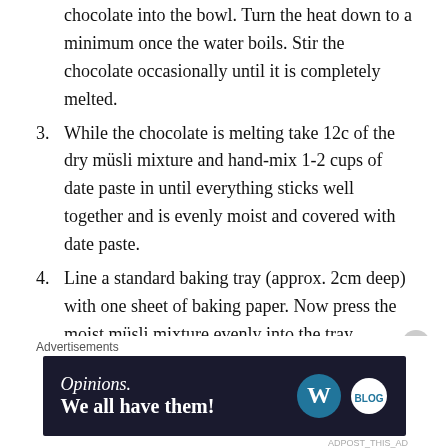chocolate into the bowl. Turn the heat down to a minimum once the water boils. Stir the chocolate occasionally until it is completely melted.
3. While the chocolate is melting take 12c of the dry müsli mixture and hand-mix 1-2 cups of date paste in until everything sticks well together and is evenly moist and covered with date paste.
4. Line a standard baking tray (approx. 2cm deep) with one sheet of baking paper. Now press the moist müsli mixture evenly into the tray.
5. When the chocolate is completely melted pour it over the compacted müsli in the baking tray. Make sure you dry off the bowl underneath beforehand to avoid water
Advertisements
[Figure (other): Advertisement banner: dark navy background with text 'Opinions. We all have them!' and WordPress (W) logo and Blog logo on the right side.]